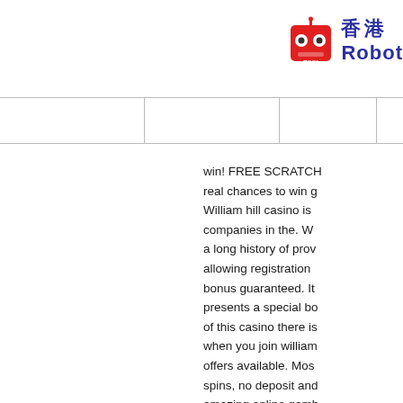香港 Robot RIHK logo
win! FREE SCRATCH real chances to win g William hill casino is companies in the. W a long history of prov allowing registration bonus guaranteed. It presents a special bo of this casino there is when you join william offers available. Mos spins, no deposit and amazing online gamb and 50 free spins. W money gambling gam money and can play